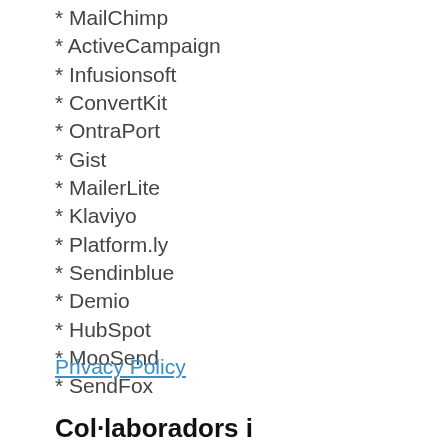* MailChimp
* ActiveCampaign
* Infusionsoft
* ConvertKit
* OntraPort
* Gist
* MailerLite
* Klaviyo
* Platform.ly
* Sendinblue
* Demio
* HubSpot
* MooSend
* SendFox
Privacy Policy
Col·laboradors i desenvolupadors